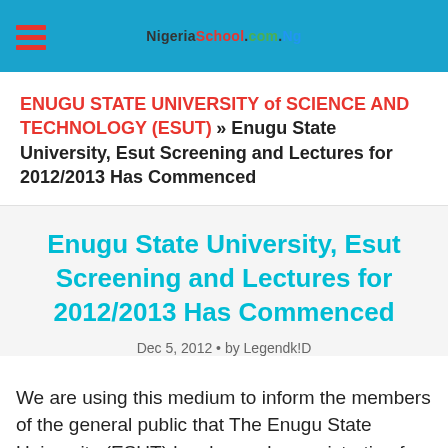NigeriaSchool.com.Ng
ENUGU STATE UNIVERSITY of SCIENCE AND TECHNOLOGY (ESUT) » Enugu State University, Esut Screening and Lectures for 2012/2013 Has Commenced
Enugu State University, Esut Screening and Lectures for 2012/2013 Has Commenced
Dec 5, 2012 • by Legendk!D
We are using this medium to inform the members of the general public that The Enugu State University (ESUT) has began her registration for candidates who are admitted into the Institution